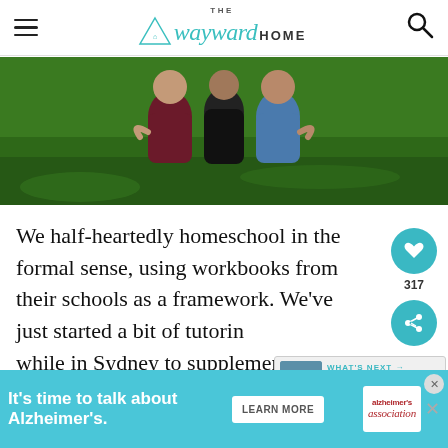The Wayward Home
[Figure (photo): Three people hugging outdoors on green grass, a family photo]
We half-heartedly homeschool in the formal sense, using workbooks from their schools as a framework. We've just started a bit of tutoring while in Sydney to supplement that. But mostly we "roadschool" – we are constantly teaching them informally and through experiences and discoveries.
[Figure (infographic): WHAT'S NEXT arrow label with thumbnail image and text 'What it's like being a...']
[Figure (infographic): Advertisement banner: It's time to talk about Alzheimer's. LEARN MORE button. Alzheimer's Association logo.]